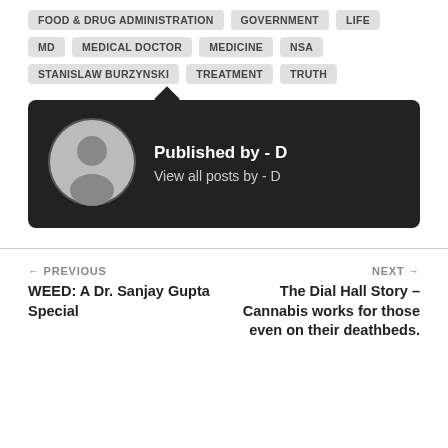FOOD & DRUG ADMINISTRATION GOVERNMENT LIFE
MD MEDICAL DOCTOR MEDICINE NSA
STANISLAW BURZYNSKI TREATMENT TRUTH
[Figure (infographic): Dark author bio box with avatar icon, text 'Published by - D' and 'View all posts by - D']
← PREVIOUS
WEED: A Dr. Sanjay Gupta Special
NEXT →
The Dial Hall Story – Cannabis works for those even on their deathbeds.